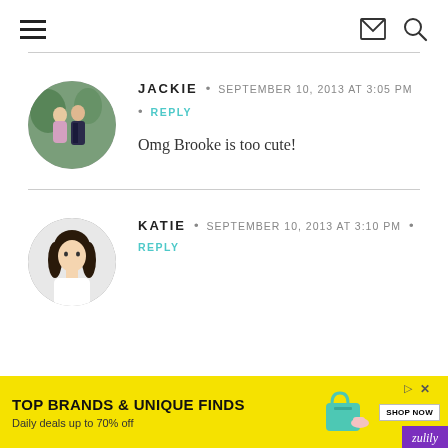Navigation header with hamburger menu, email icon, and search icon
JACKIE • SEPTEMBER 10, 2013 AT 3:05 PM • REPLY
Omg Brooke is too cute!
KATIE • SEPTEMBER 10, 2013 AT 3:10 PM • REPLY
[Figure (other): Advertisement banner: TOP BRANDS & UNIQUE FINDS. Daily deals up to 70% off. Zulily. SHOP NOW button.]